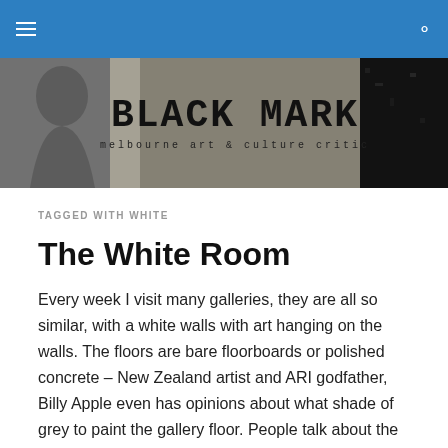Black Mark – melbourne art & culture critic
[Figure (illustration): Black Mark blog banner with silhouette figure on left, large text 'BLACK MARK' in center, and subtitle 'melbourne art & culture critic']
TAGGED WITH WHITE
The White Room
Every week I visit many galleries, they are all so similar, with a white walls with art hanging on the walls. The floors are bare floorboards or polished concrete – New Zealand artist and ARI godfather, Billy Apple even has opinions about what shade of grey to paint the gallery floor. People talk about the empty space: the ambience, the light, the